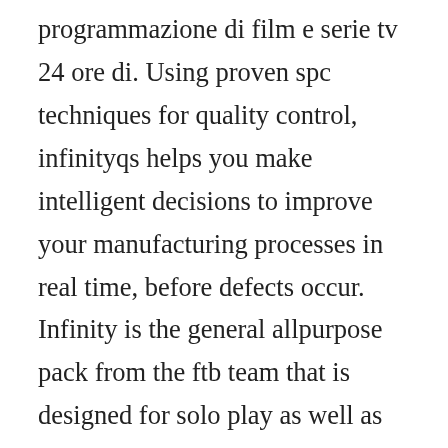programmazione di film e serie tv 24 ore di. Using proven spc techniques for quality control, infinityqs helps you make intelligent decisions to improve your manufacturing processes in real time, before defects occur. Infinity is the general allpurpose pack from the ftb team that is designed for solo play as well as small and medium population servers. Puresro is online privet server cap degree 14 free silk most populated sro private server. This program protects you while browsing the internet using a vpn. Our antivirus analysis